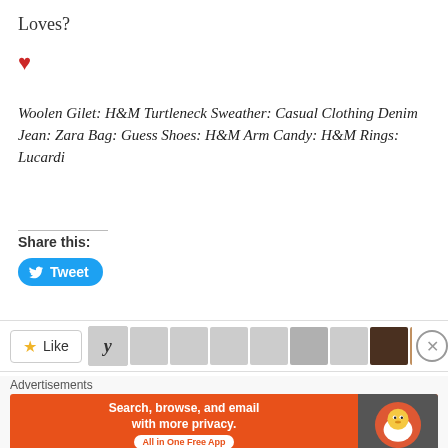Loves?
[Figure (illustration): Red heart icon]
Woolen Gilet: H&M Turtleneck Sweather: Casual Clothing Denim Jean: Zara Bag: Guess Shoes: H&M Arm Candy: H&M Rings: Lucardi
Share this:
[Figure (other): Tweet button with Twitter bird icon]
[Figure (other): Like button strip with avatar thumbnails and close button]
Advertisements
[Figure (other): DuckDuckGo advertisement banner: Search, browse, and email with more privacy. All in One Free App]